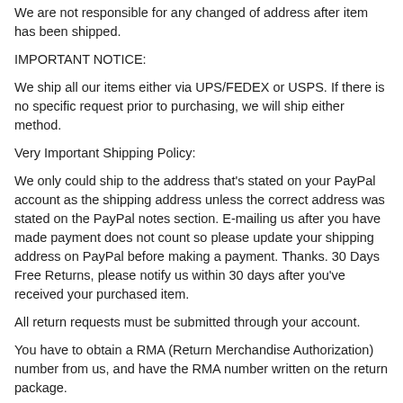We are not responsible for any changed of address after item has been shipped.
IMPORTANT NOTICE:
We ship all our items either via UPS/FEDEX or USPS. If there is no specific request prior to purchasing, we will ship either method.
Very Important Shipping Policy:
We only could ship to the address that's stated on your PayPal account as the shipping address unless the correct address was stated on the PayPal notes section. E-mailing us after you have made payment does not count so please update your shipping address on PayPal before making a payment. Thanks. 30 Days Free Returns, please notify us within 30 days after you've received your purchased item.
All return requests must be submitted through your account.
You have to obtain a RMA (Return Merchandise Authorization) number from us, and have the RMA number written on the return package.